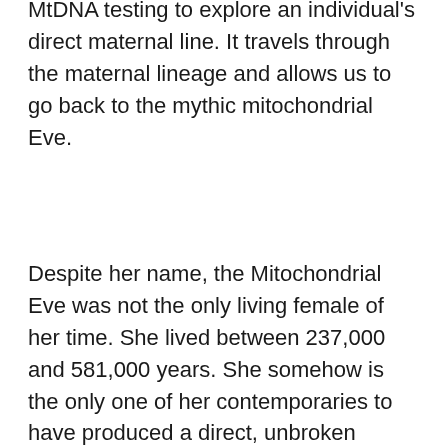MtDNA testing to explore an individual's direct maternal line. It travels through the maternal lineage and allows us to go back to the mythic mitochondrial Eve.
Despite her name, the Mitochondrial Eve was not the only living female of her time. She lived between 237,000 and 581,000 years. She somehow is the only one of her contemporaries to have produced a direct, unbroken female lineage.
Despite Eve being our most common maternal ancestor, we do not share her exact DNA. The mutations in the mtDNA are said to occur every thousand generations, and as a result, mutations are rare within a family line. This is especially useful for